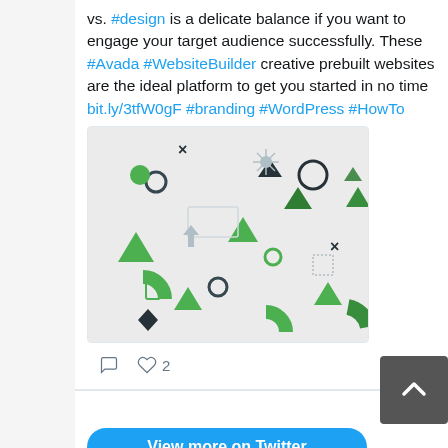vs. #design is a delicate balance if you want to engage your target audience successfully. These #Avada #WebsiteBuilder creative prebuilt websites are the ideal platform to get you started in no time bit.ly/3tfW0gF #branding #WordPress #HowTo
[Figure (illustration): Abstract geometric design with green and dark shapes including triangles, circles, crosses, diamonds on a light grey background]
2 (likes)
View more on Twitter